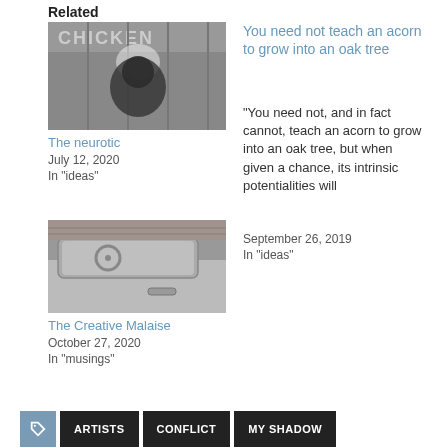Related
[Figure (photo): Black and white photo showing a dog or animal near a window with a Chicken sign visible]
The neurotic
July 12, 2020
In "ideas"
You need not teach an acorn to grow into an oak tree
"You need not, and in fact cannot, teach an acorn to grow into an oak tree, but when given a chance, its intrinsic potentialities will
September 26, 2019
In "ideas"
[Figure (photo): Black and white photo of a car door and window, side view]
The Creative Malaise
October 27, 2020
In "musings"
ARTISTS   CONFLICT   MY SHADOW